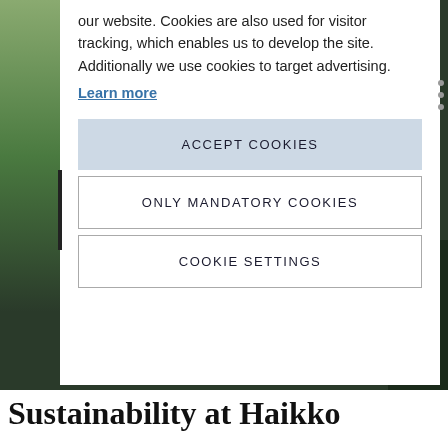our website. Cookies are also used for visitor tracking, which enables us to develop the site. Additionally we use cookies to target advertising.
Learn more
ACCEPT COOKIES
ONLY MANDATORY COOKIES
COOKIE SETTINGS
Sustainability at Haikko